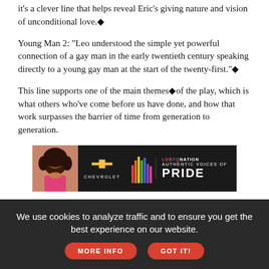it's a clever line that helps reveal Eric's giving nature and vision of unconditional love.◆
Young Man 2: "Leo understood the simple yet powerful connection of a gay man in the early twentieth century speaking directly to a young gay man at the start of the twenty-first."◆
This line supports one of the main themes◆of the play, which is what others who've come before us have done, and how that work surpasses the barrier of time from generation to generation.
[Figure (infographic): Advertisement banner for Chevrolet and LGBTQ Nation Authentic Voices of Pride, dark background with a person's photo on the left, Chevrolet bowtie logo in center, colorful bar graphic and PRIDE text on right.]
Brandon Curry
[Figure (photo): Partial photo of Brandon Curry, showing top of head with dark hair against a light background.]
We use cookies to analyze traffic and to ensure you get the best experience on our website.